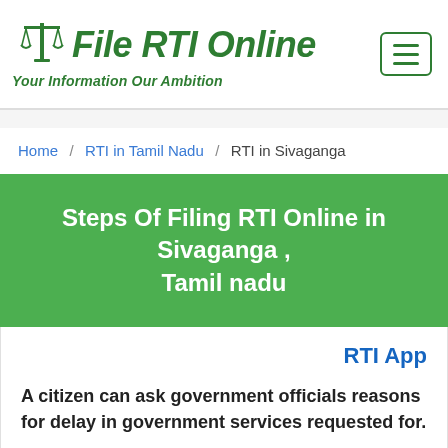[Figure (logo): File RTI Online logo with scales of justice icon, green color, tagline: Your Information Our Ambition]
Home / RTI in Tamil Nadu / RTI in Sivaganga
Steps Of Filing RTI Online in Sivaganga , Tamil nadu
RTI App
A citizen can ask government officials reasons for delay in government services requested for.